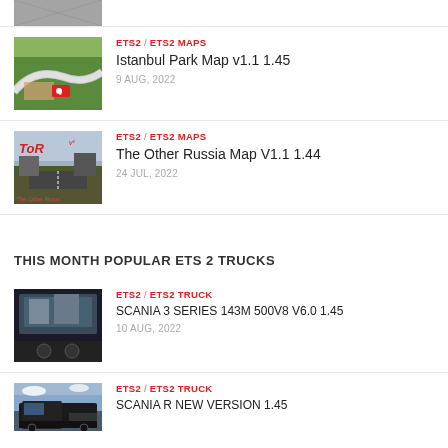[Figure (photo): Partial thumbnail of a map or road scene at top of page]
[Figure (photo): Aerial view of Istanbul Park racing circuit with Turkish flag marking]
ETS2 / ETS2 MAPS
Istanbul Park Map v1.1 1.45
9 AUG, 2022
[Figure (photo): The Other Russia Map thumbnail showing ToR logo and road scene]
ETS2 / ETS2 MAPS
The Other Russia Map V1.1 1.44
24 JUL, 2022
THIS MONTH POPULAR ETS 2 TRUCKS
[Figure (photo): Scania 3 Series truck interior/exterior screenshot]
ETS2 / ETS2 TRUCK
SCANIA 3 SERIES 143M 500V8 V6.0 1.45
10 AUG, 2022
[Figure (photo): Scania R New Version truck exterior screenshot]
ETS2 / ETS2 TRUCK
SCANIA R NEW VERSION 1.45